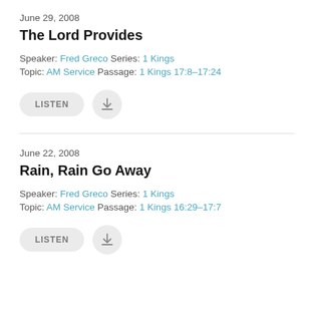June 29, 2008
The Lord Provides
Speaker: Fred Greco  Series: 1 Kings
Topic: AM Service  Passage: 1 Kings 17:8–17:24
[Figure (other): LISTEN button and download icon button]
June 22, 2008
Rain, Rain Go Away
Speaker: Fred Greco  Series: 1 Kings
Topic: AM Service  Passage: 1 Kings 16:29–17:7
[Figure (other): LISTEN button and download icon button]